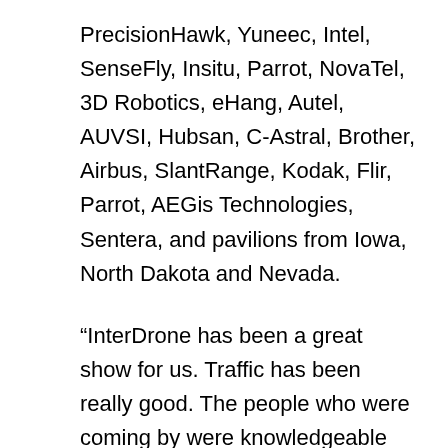PrecisionHawk, Yuneec, Intel, SenseFly, Insitu, Parrot, NovaTel, 3D Robotics, eHang, Autel, AUVSI, Hubsan, C-Astral, Brother, Airbus, SlantRange, Kodak, Flir, Parrot, AEGis Technologies, Sentera, and pavilions from Iowa, North Dakota and Nevada.
“InterDrone has been a great show for us. Traffic has been really good. The people who were coming by were knowledgeable and asking great questions. We feel like the show definitely paid for itself and